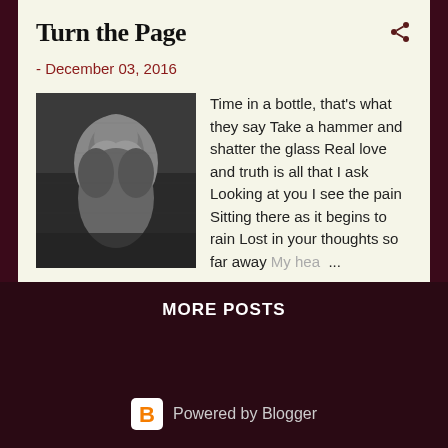Turn the Page
- December 03, 2016
[Figure (photo): Black and white photo of a person with head bowed, hands covering face, in a grief or prayer pose]
Time in a bottle, that's what they say Take a hammer and shatter the glass Real love and truth is all that I ask Looking at you I see the pain Sitting there as it begins to rain Lost in your thoughts so far away My hea ...
Post a Comment
READ MORE
MORE POSTS
Powered by Blogger